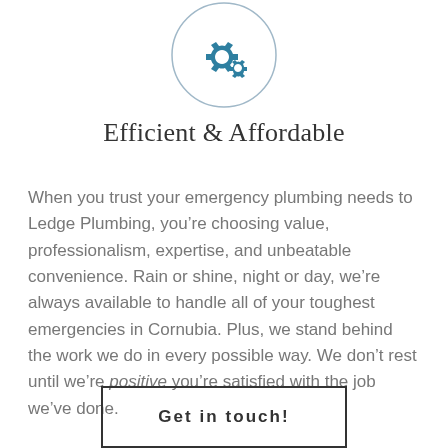[Figure (illustration): A circular icon with a thin blue-grey border containing two blue gear/cog icons of different sizes]
Efficient & Affordable
When you trust your emergency plumbing needs to Ledge Plumbing, you’re choosing value, professionalism, expertise, and unbeatable convenience. Rain or shine, night or day, we’re always available to handle all of your toughest emergencies in Cornubia. Plus, we stand behind the work we do in every possible way. We don’t rest until we’re positive you’re satisfied with the job we’ve done.
Get in touch!